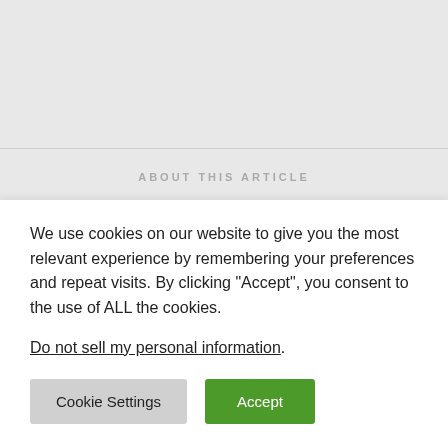[Figure (screenshot): Top gray placeholder block representing a website screenshot area]
ABOUT THIS ARTICLE
[Figure (screenshot): Search bar area partially visible in gray block]
We use cookies on our website to give you the most relevant experience by remembering your preferences and repeat visits. By clicking “Accept”, you consent to the use of ALL the cookies.
Do not sell my personal information.
Cookie Settings   Accept